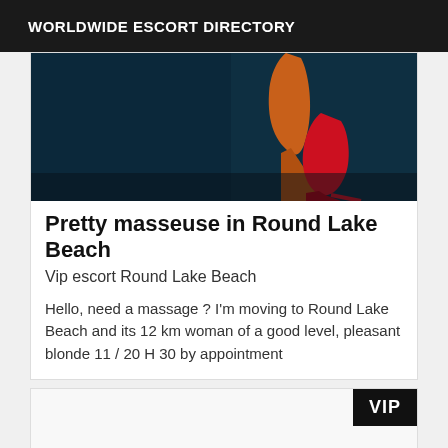WORLDWIDE ESCORT DIRECTORY
[Figure (photo): Close-up photo of red high heel shoes on dark background]
Pretty masseuse in Round Lake Beach
Vip escort Round Lake Beach
Hello, need a massage ? I'm moving to Round Lake Beach and its 12 km woman of a good level, pleasant blonde 11 / 20 H 30 by appointment
[Figure (photo): Second listing card with VIP badge, photo area mostly white/blank]